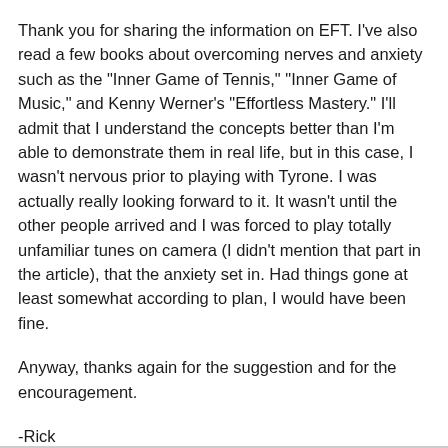Thank you for sharing the information on EFT. I've also read a few books about overcoming nerves and anxiety such as the "Inner Game of Tennis," "Inner Game of Music," and Kenny Werner's "Effortless Mastery." I'll admit that I understand the concepts better than I'm able to demonstrate them in real life, but in this case, I wasn't nervous prior to playing with Tyrone. I was actually really looking forward to it. It wasn't until the other people arrived and I was forced to play totally unfamiliar tunes on camera (I didn't mention that part in the article), that the anxiety set in. Had things gone at least somewhat according to plan, I would have been fine.
Anyway, thanks again for the suggestion and for the encouragement.
-Rick